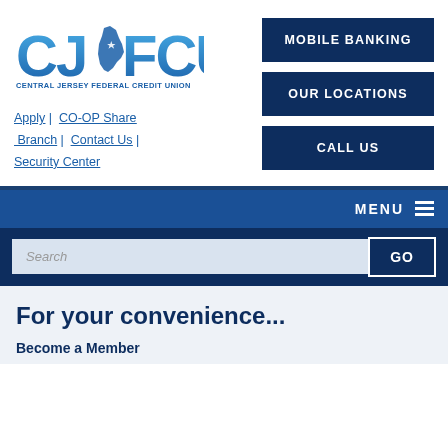[Figure (logo): Central Jersey Federal Credit Union logo with blue stylized CJFCU letters and NJ state shape]
CENTRAL JERSEY FEDERAL CREDIT UNION
Apply | CO-OP Share Branch | Contact Us | Security Center
MOBILE BANKING
OUR LOCATIONS
CALL US
MENU
Search
GO
For your convenience...
Become a Member